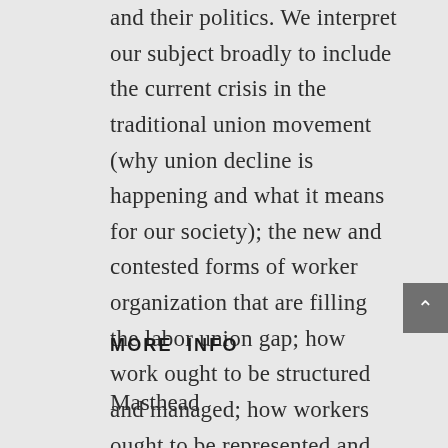and their politics. We interpret our subject broadly to include the current crisis in the traditional union movement (why union decline is happening and what it means for our society); the new and contested forms of worker organization that are filling the labor union gap; how work ought to be structured and managed; how workers ought to be represented and compensated; and the appropriate role of government – all three branches – in each of these issues.
MORE INFO
Masthead